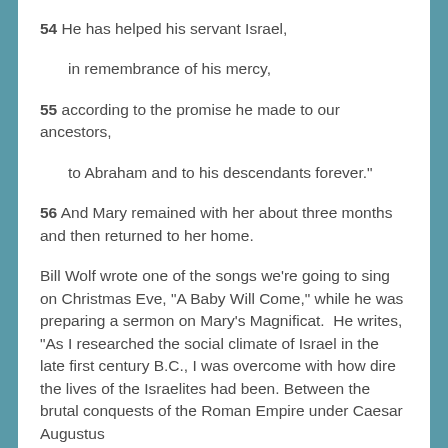54 He has helped his servant Israel,
in remembrance of his mercy,
55 according to the promise he made to our ancestors,
to Abraham and to his descendants forever."
56 And Mary remained with her about three months and then returned to her home.
Bill Wolf wrote one of the songs we’re going to sing on Christmas Eve, “A Baby Will Come,” while he was preparing a sermon on Mary’s Magnificat. He writes, “As I researched the social climate of Israel in the late first century B.C., I was overcome with how dire the lives of the Israelites had been. Between the brutal conquests of the Roman Empire under Caesar Augustus